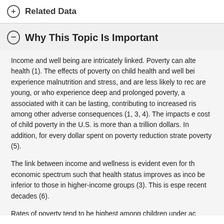Related Data
Why This Topic Is Important
Income and well being are intricately linked. Poverty can alte health (1). The effects of poverty on child health and well bei experience malnutrition and stress, and are less likely to rec are young, or who experience deep and prolonged poverty, a associated with it can be lasting, contributing to increased ris among other adverse consequences (1, 3, 4). The impacts e cost of child poverty in the U.S. is more than a trillion dollars. In addition, for every dollar spent on poverty reduction strate poverty (5).
The link between income and wellness is evident even for th economic spectrum such that health status improves as inco be inferior to those in higher-income groups (3). This is espe recent decades (6).
Rates of poverty tend to be highest among children under ac